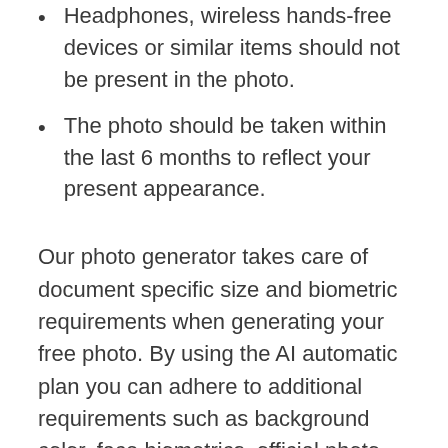Headphones, wireless hands-free devices or similar items should not be present in the photo.
The photo should be taken within the last 6 months to reflect your present appearance.
Our photo generator takes care of document specific size and biometric requirements when generating your free photo. By using the AI automatic plan you can adhere to additional requirements such as background color, face biometrics, official photo guidelines, file size, etc. specified in this page.
This Passport photo editor/creator app makes it easy to create passport photos for Philippines Certificate of Identity and Registration (CIR) card of 25x25 mm